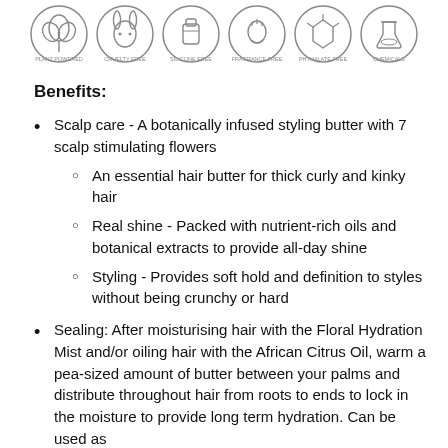[Figure (illustration): Row of six circular badge icons: Plant Powered, Cruelty Free, Silicone Free, Fragrance Free, Phthalate Free, Chemicals (free)]
Benefits:
Scalp care - A botanically infused styling butter with 7 scalp stimulating flowers
An essential hair butter for thick curly and kinky hair
Real shine - Packed with nutrient-rich oils and botanical extracts to provide all-day shine
Styling - Provides soft hold and definition to styles without being crunchy or hard
Sealing: After moisturising hair with the Floral Hydration Mist and/or oiling hair with the African Citrus Oil, warm a pea-sized amount of butter between your palms and distribute throughout hair from roots to ends to lock in the moisture to provide long term hydration. Can be used as